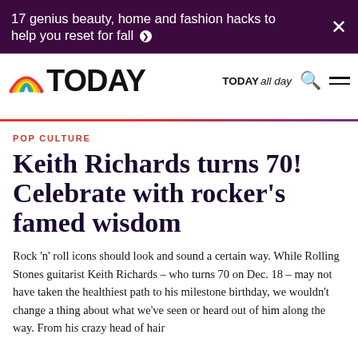17 genius beauty, home and fashion hacks to help you reset for fall ›
TODAY | TODAY all day
POP CULTURE
Keith Richards turns 70! Celebrate with rocker's famed wisdom
Rock 'n' roll icons should look and sound a certain way. While Rolling Stones guitarist Keith Richards – who turns 70 on Dec. 18 – may not have taken the healthiest path to his milestone birthday, we wouldn't change a thing about what we've seen or heard out of him along the way. From his crazy head of hair